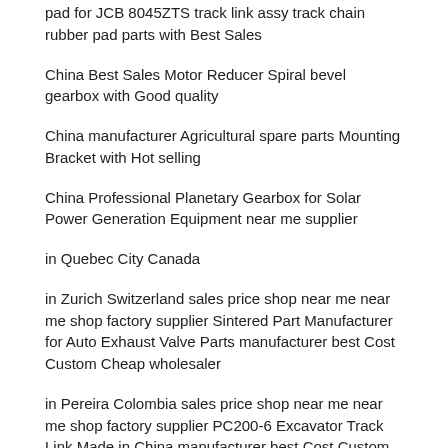pad for JCB 8045ZTS track link assy track chain rubber pad parts with Best Sales
China Best Sales Motor Reducer Spiral bevel gearbox with Good quality
China manufacturer Agricultural spare parts Mounting Bracket with Hot selling
China Professional Planetary Gearbox for Solar Power Generation Equipment near me supplier
in Quebec City Canada
in Zurich Switzerland sales price shop near me near me shop factory supplier Sintered Part Manufacturer for Auto Exhaust Valve Parts manufacturer best Cost Custom Cheap wholesaler
in Pereira Colombia sales price shop near me near me shop factory supplier PC200-6 Excavator Track Link Made in China manufacturer best Cost Custom Cheap wholesaler